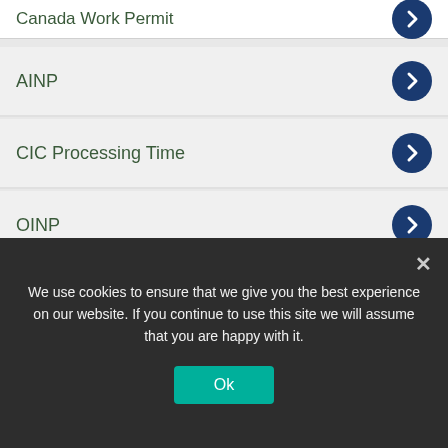Canada Work Permit
AINP
CIC Processing Time
OINP
Express Entry
CRS Calculator
Jobs in Canada
FREE Visa Assessment
We make the whole process simple.
We use cookies to ensure that we give you the best experience on our website. If you continue to use this site we will assume that you are happy with it.